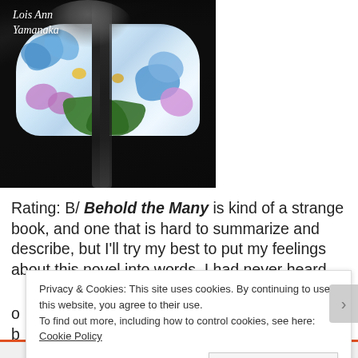[Figure (photo): Book cover of 'Behold the Many' by Lois Ann Yamanaka. Dark background with a person wearing a floral kimono-style garment featuring blue orchids and tropical flowers. A dark braid of hair hangs down. The author's name 'Lois Ann Yamanaka' appears in white italic script at the top left.]
Rating: B/ Behold the Many is kind of a strange book, and one that is hard to summarize and describe, but I'll try my best to put my feelings about this novel into words. I had never heard of
Privacy & Cookies: This site uses cookies. By continuing to use this website, you agree to their use.
To find out more, including how to control cookies, see here: Cookie Policy
Close and accept